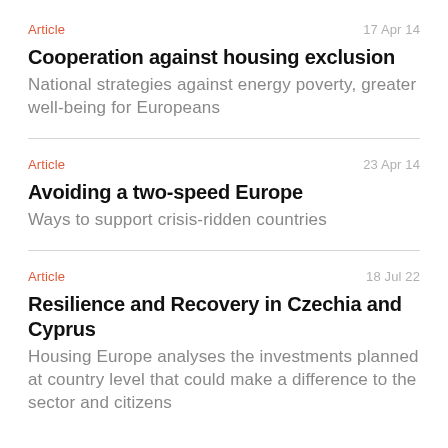Article
17 Apr 14
Cooperation against housing exclusion
National strategies against energy poverty, greater well-being for Europeans
Article
23 Apr 14
Avoiding a two-speed Europe
Ways to support crisis-ridden countries
Article
18 Jul 22
Resilience and Recovery in Czechia and Cyprus
Housing Europe analyses the investments planned at country level that could make a difference to the sector and citizens